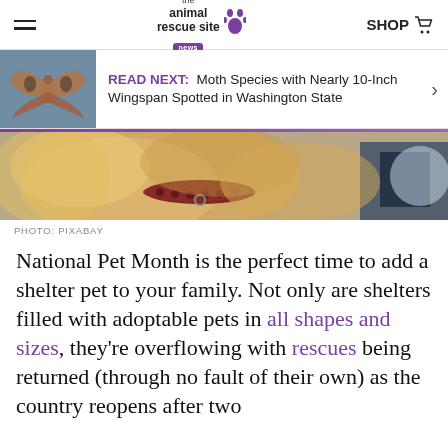the animal rescue site NEWS | SHOP
[Figure (photo): READ NEXT banner with moth image and text: Moth Species with Nearly 10-Inch Wingspan Spotted in Washington State]
[Figure (photo): Close-up photo of a golden dog with a dark red collar, blurred background]
PHOTO: PIXABAY
National Pet Month is the perfect time to add a shelter pet to your family. Not only are shelters filled with adoptable pets in all shapes and sizes, they're overflowing with rescues being returned (through no fault of their own) as the country reopens after two